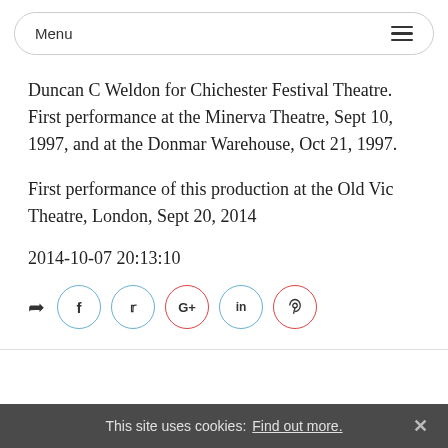Menu
Duncan C Weldon for Chichester Festival Theatre. First performance at the Minerva Theatre, Sept 10, 1997, and at the Donmar Warehouse, Oct 21, 1997.
First performance of this production at the Old Vic Theatre, London, Sept 20, 2014
2014-10-07 20:13:10
[Figure (other): Social sharing icons row: share arrow, Facebook (f), Twitter (t), Google+ (G+), LinkedIn (in), Pinterest (pin)]
This site uses cookies: Find out more.